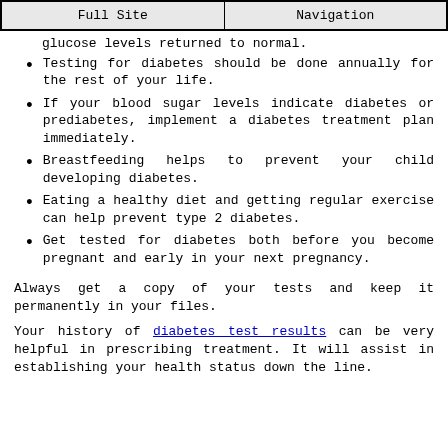Full Site | Navigation
glucose levels returned to normal.
Testing for diabetes should be done annually for the rest of your life.
If your blood sugar levels indicate diabetes or prediabetes, implement a diabetes treatment plan immediately.
Breastfeeding helps to prevent your child developing diabetes.
Eating a healthy diet and getting regular exercise can help prevent type 2 diabetes.
Get tested for diabetes both before you become pregnant and early in your next pregnancy.
Always get a copy of your tests and keep it permanently in your files.
Your history of diabetes test results can be very helpful in prescribing treatment. It will assist in establishing your health status down the line.